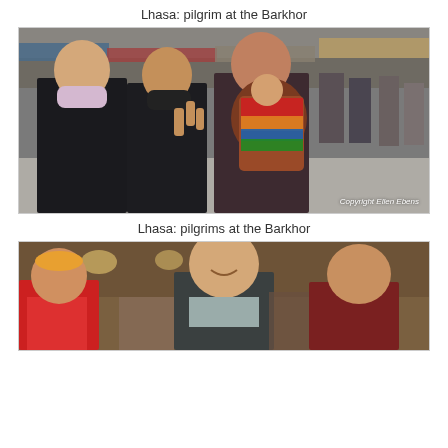Lhasa: pilgrim at the Barkhor
[Figure (photo): Photograph of pilgrims at the Barkhor in Lhasa. Three people in foreground: two women wearing face masks in dark winter coats, one making a peace sign, and a man in a dark robe carrying a colorfully dressed child on his back. Busy street market scene in background with shop awnings, other pedestrians. Copyright Ellen Ebens watermark.]
Lhasa: pilgrims at the Barkhor
[Figure (photo): Partial photograph showing pilgrims at the Barkhor in Lhasa. A Western-looking man smiling in center, people in traditional Tibetan dress including red robes visible to the right, market stalls in background.]